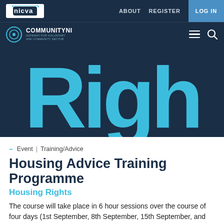nicva | ABOUT  REGISTER  LOG IN
COMMUNITY NI | (hamburger menu) (search icon)
[Figure (illustration): Large cyan/blue letters 'Righ' shown on a dark navy background, forming part of the word 'Rights' as a decorative hero banner image.]
– Event | Training/Advice
Housing Advice Training Programme
Housing Rights
The course will take place in 6 hour sessions over the course of four days (1st September, 8th September, 15th September, and 22nd September ) Our Housing Advice Training Programme is the 'must have' course for those